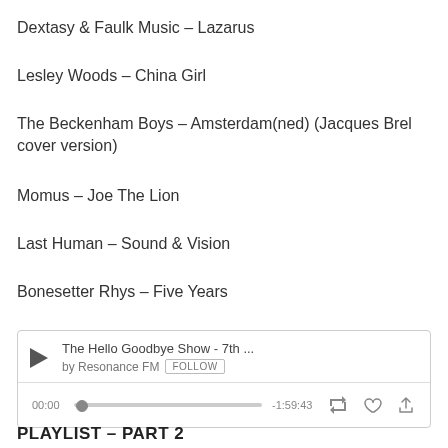Dextasy & Faulk Music – Lazarus
Lesley Woods – China Girl
The Beckenham Boys – Amsterdam(ned) (Jacques Brel cover version)
Momus – Joe The Lion
Last Human – Sound & Vision
Bonesetter Rhys – Five Years
[Figure (screenshot): Audio player widget showing 'The Hello Goodbye Show - 7th ...' by Resonance FM with a Follow button, play button, progress bar showing 00:00 and -1:59:43, repeat, heart, and share icons]
PLAYLIST – PART 2